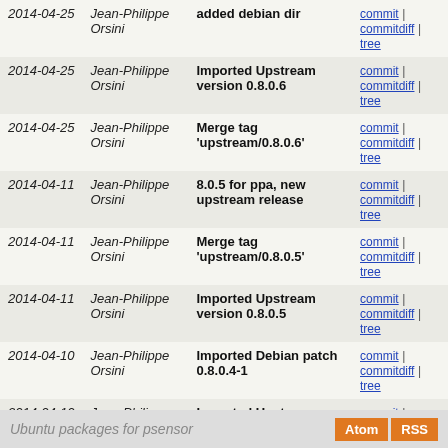| Date | Author | Message | Links |
| --- | --- | --- | --- |
| 2014-04-25 | Jean-Philippe Orsini | added debian dir | commit | commitdiff | tree |
| 2014-04-25 | Jean-Philippe Orsini | Imported Upstream version 0.8.0.6 | commit | commitdiff | tree |
| 2014-04-25 | Jean-Philippe Orsini | Merge tag 'upstream/0.8.0.6' | commit | commitdiff | tree |
| 2014-04-11 | Jean-Philippe Orsini | 8.0.5 for ppa, new upstream release | commit | commitdiff | tree |
| 2014-04-11 | Jean-Philippe Orsini | Merge tag 'upstream/0.8.0.5' | commit | commitdiff | tree |
| 2014-04-11 | Jean-Philippe Orsini | Imported Upstream version 0.8.0.5 | commit | commitdiff | tree |
| 2014-04-10 | Jean-Philippe Orsini | Imported Debian patch 0.8.0.4-1 | commit | commitdiff | tree |
| 2014-04-10 | Jean-Philippe Orsini | Imported Upstream version 0.8.0.4 | commit | commitdiff | tree |
Ubuntu packages for psensor